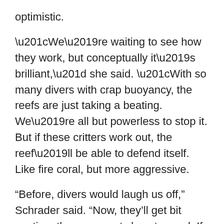optimistic.
“We’re waiting to see how they work, but conceptually it’s brilliant,” she said. “With so many divers with crap buoyancy, the reefs are just taking a beating. We’re all but powerless to stop it. But if these critters work out, the reef’ll be able to defend itself. Like fire coral, but more aggressive.
“Before, divers would laugh us off,” Schrader said. “Now, they’ll get bit anytime they even get close to coral. If this works out, we can get back to nabbing poachers and fixing mooring lines.”
Some on the island worried the experiment went too far.
“Creating a totally new species from two very different ones isn’t experimentation, it’s monstrous,” ethics